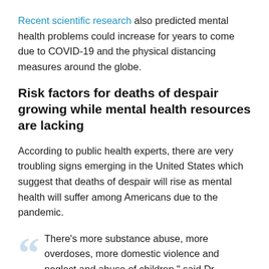Recent scientific research also predicted mental health problems could increase for years to come due to COVID-19 and the physical distancing measures around the globe.
Risk factors for deaths of despair growing while mental health resources are lacking
According to public health experts, there are very troubling signs emerging in the United States which suggest that deaths of despair will rise as mental health will suffer among Americans due to the pandemic.
There's more substance abuse, more overdoses, more domestic violence and neglect and abuse of children," said Dr.